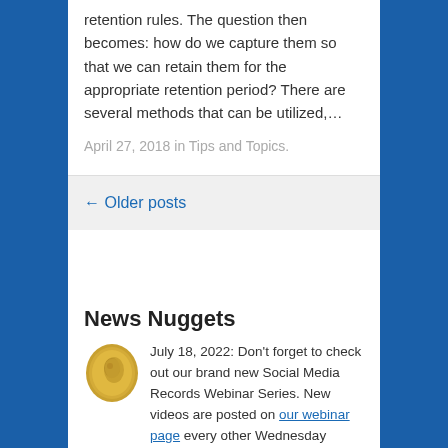retention rules. The question then becomes: how do we capture them so that we can retain them for the appropriate retention period? There are several methods that can be utilized,…
April 27, 2018 in Tips and Topics.
← Older posts
News Nuggets
July 18, 2022: Don't forget to check out our brand new Social Media Records Webinar Series. New videos are posted on our webinar page every other Wednesday through September 7.
Old News Nuggets